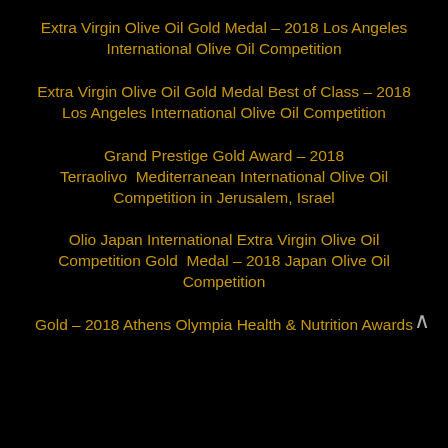Extra Virgin Olive Oil Gold Medal – 2018 Los Angeles International Olive Oil Competition
Extra Virgin Olive Oil Gold Medal Best of Class – 2018 Los Angeles International Olive Oil Competition
Grand Prestige Gold Award – 2018 Terraolivo  Mediterranean International Olive Oil Competition in Jerusalem, Israel
Olio Japan International Extra Virgin Olive Oil Competition Gold  Medal – 2018 Japan Olive Oil Competition
Gold – 2018 Athens Olympia Health & Nutrition Awards